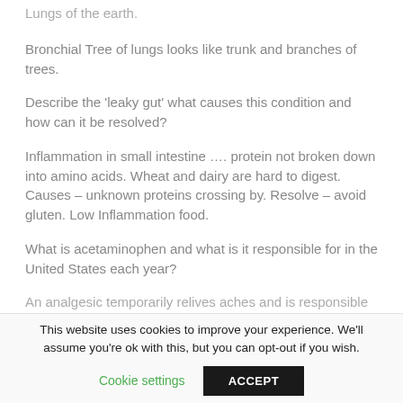Lungs of the earth.
Bronchial Tree of lungs looks like trunk and branches of trees.
Describe the 'leaky gut' what causes this condition and how can it be resolved?
Inflammation in small intestine …. protein not broken down into amino acids. Wheat and dairy are hard to digest. Causes – unknown proteins crossing by. Resolve – avoid gluten. Low Inflammation food.
What is acetaminophen and what is it responsible for in the United States each year?
An analgesic temporarily relives aches and is responsible
This website uses cookies to improve your experience. We'll assume you're ok with this, but you can opt-out if you wish.